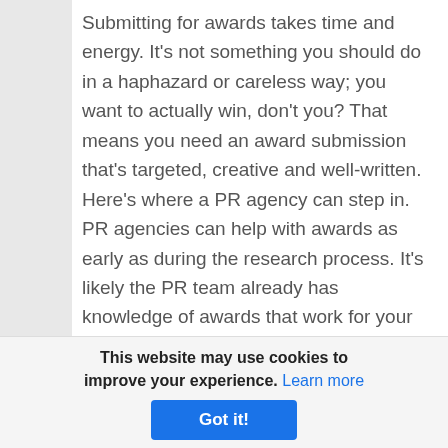Submitting for awards takes time and energy. It's not something you should do in a haphazard or careless way; you want to actually win, don't you? That means you need an award submission that's targeted, creative and well-written. Here's where a PR agency can step in. PR agencies can help with awards as early as during the research process. It's likely the PR team already has knowledge of awards that work for your organization. PR professionals are writers and storytellers. With their help, your company's submission will be engaging and well-written. PR agencies assist clients with award submissions all the time, so while it may be your first time...
This website may use cookies to improve your experience. Learn more
Got it!